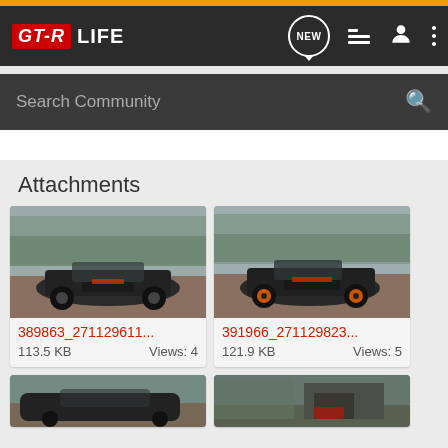GT-R LIFE — Navigation bar with NEW, list, person, dots icons
Search Community
Attachments
[Figure (photo): Dark gray Nissan GT-R front view on brick driveway with trees in background]
389863_271129611...
113.5 KB   Views: 4
[Figure (photo): Dark gray Nissan GT-R front-angle view on brick driveway with trees in background]
391966_271129823...
121.9 KB   Views: 5
[Figure (photo): Dark gray Nissan GT-R side view on driveway with trees]
[Figure (photo): Nissan GT-R near garage/house exterior with trees]